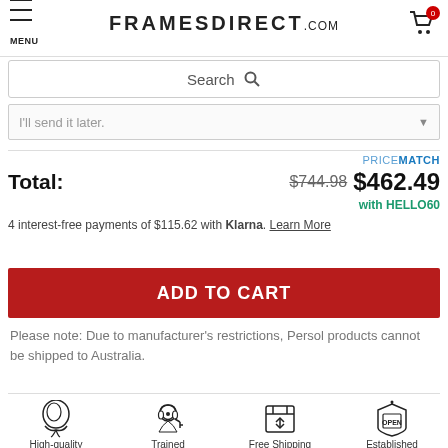FRAMESDIRECT.COM
Search
I'll send it later.
PRICEMATCH
Total: $744.98 $462.49 with HELLO60
4 interest-free payments of $115.62 with Klarna. Learn More
ADD TO CART
Please note: Due to manufacturer's restrictions, Persol products cannot be shipped to Australia.
[Figure (infographic): Four icons row: High-quality Lenses (glasses icon), Trained Opticians (headset person icon), Free Shipping & Easy Returns (box with arrows icon), Established in 1996 (open sign icon)]